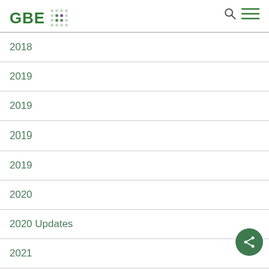GBE
2018
2019
2019
2019
2019
2020
2020 Updates
2021
2022